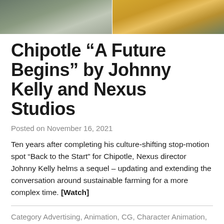[Figure (photo): Two side-by-side photo panels: left shows a dark pastoral farm scene with equipment, right shows a tractor pulling a wooden cart loaded with yellow/orange produce]
Chipotle “A Future Begins” by Johnny Kelly and Nexus Studios
Posted on November 16, 2021
Ten years after completing his culture-shifting stop-motion spot “Back to the Start” for Chipotle, Nexus director Johnny Kelly helms a sequel – updating and extending the conversation around sustainable farming for a more complex time. [Watch]
Category Advertising, Animation, CG, Character Animation, Featured, Stop Motion · Tags Chipotle, Fonio, Johnny Kelly, Kacey Musgraves, Nexus